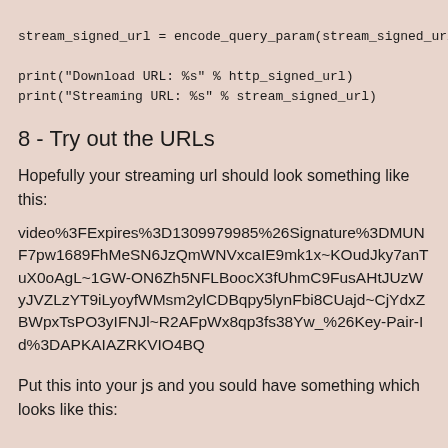stream_signed_url = encode_query_param(stream_signed_url)

print("Download URL: %s" % http_signed_url)
print("Streaming URL: %s" % stream_signed_url)
8 - Try out the URLs
Hopefully your streaming url should look something like this:
video%3FExpires%3D1309979985%26Signature%3DMUNFpw1689FhMeSN6JzQmWNVxcaIE9mk1x~KOudJky7anTuX0oAgL~1GW-ON6Zh5NFLBoocX3fUhmC9FusAHtJUzWyJVZLzYT9iLyoyfWMsm2ylCDBqpy5lynFbi8CUajd~CjYdxZBWpxTsPO3yIFNJl~R2AFpWx8qp3fs38Yw_%26Key-Pair-Id%3DAPKAIAZRKVIO4BQ
Put this into your js and you sould have something which looks like this: